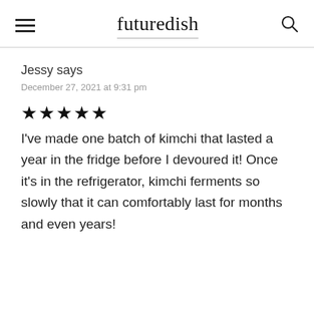futuredish
Jessy says
December 27, 2021 at 9:31 pm
★★★★★
I've made one batch of kimchi that lasted a year in the fridge before I devoured it! Once it's in the refrigerator, kimchi ferments so slowly that it can comfortably last for months and even years!